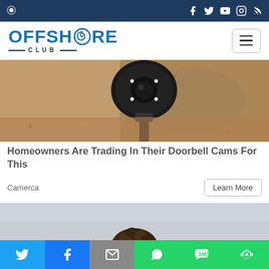Offshore Club — navigation bar with social icons (Facebook, Twitter, YouTube, Instagram, RSS)
[Figure (logo): Offshore Club logo — large teal/blue letters OFFSHORE with swirl icon replacing the O, CLUB below with decorative dashes]
[Figure (photo): Security camera mounted on a textured surface, close-up overhead view]
Homeowners Are Trading In Their Doorbell Cams For This
Camerca
Learn More
[Figure (photo): Person with curly hair, partial view from behind, light grey sky background]
Social share bar: Twitter, Facebook, Email, WhatsApp, SMS, More